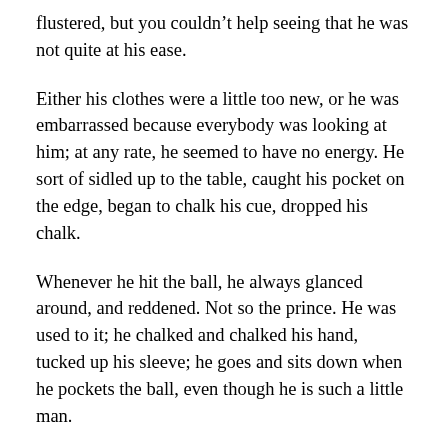flustered, but you couldn't help seeing that he was not quite at his ease.
Either his clothes were a little too new, or he was embarrassed because everybody was looking at him; at any rate, he seemed to have no energy. He sort of sidled up to the table, caught his pocket on the edge, began to chalk his cue, dropped his chalk.
Whenever he hit the ball, he always glanced around, and reddened. Not so the prince. He was used to it; he chalked and chalked his hand, tucked up his sleeve; he goes and sits down when he pockets the ball, even though he is such a little man.
They played two or three games; then I notice the prince puts up the cue, and says, “Would you mind